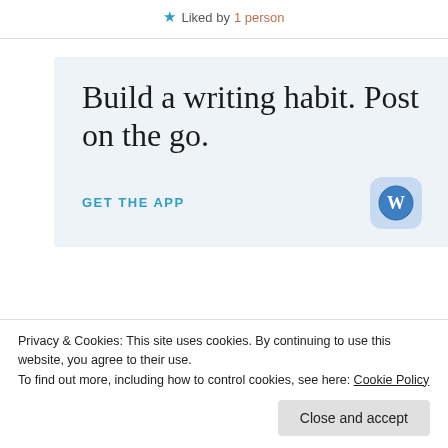★ Liked by 1 person
[Figure (infographic): WordPress promotional banner with text 'Build a writing habit. Post on the go.' and 'GET THE APP' with WordPress logo icon]
Privacy & Cookies: This site uses cookies. By continuing to use this website, you agree to their use. To find out more, including how to control cookies, see here: Cookie Policy
Close and accept
blondeamyblog